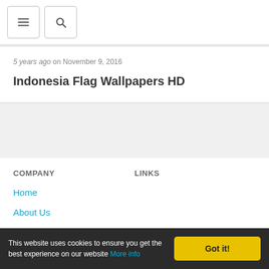Navigation header with menu and search icons
5 years ago on November 9, 2016
Indonesia Flag Wallpapers HD
COMPANY
LINKS
Home
About Us
TOS
This website uses cookies to ensure you get the best experience on our website More info Got it!